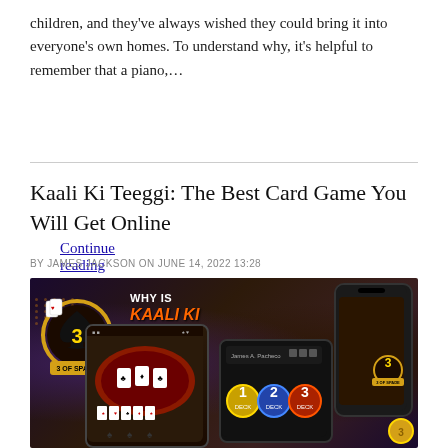children, and they've always wished they could bring it into everyone's own homes. To understand why, it's helpful to remember that a piano,...
Continue reading
Kaali Ki Teeggi: The Best Card Game You Will Get Online
BY JAMES JACKSON ON JUNE 14, 2022 13:28
[Figure (photo): Promotional image for Kaali Ki Teeggi card game showing text 'WHY IS KAALI KI TEEGGI THE BEST ONLINE CARD GAME?' with game app screenshots and a '3 of Spade' badge logo on a dark background.]